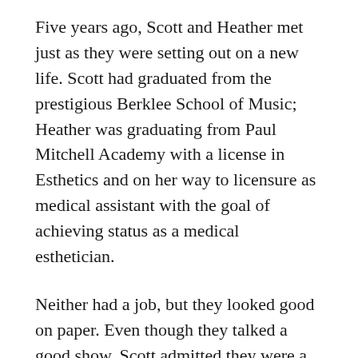Five years ago, Scott and Heather met just as they were setting out on a new life. Scott had graduated from the prestigious Berklee School of Music; Heather was graduating from Paul Mitchell Academy with a license in Esthetics and on her way to licensure as medical assistant with the goal of achieving status as a medical esthetician.
Neither had a job, but they looked good on paper. Even though they talked a good show, Scott admitted they were a little lost. Nonetheless, in Heather, Scott saw something that felt real, substantial, and solid. In Scott, Heather saw something that felt real, substantial, and solid.